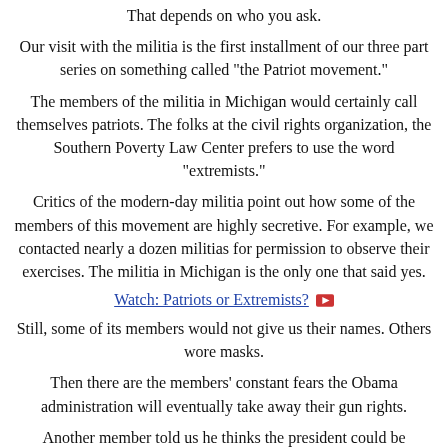That depends on who you ask.
Our visit with the militia is the first installment of our three part series on something called "the Patriot movement."
The members of the militia in Michigan would certainly call themselves patriots. The folks at the civil rights organization, the Southern Poverty Law Center prefers to use the word "extremists."
Critics of the modern-day militia point out how some of the members of this movement are highly secretive. For example, we contacted nearly a dozen militias for permission to observe their exercises. The militia in Michigan is the only one that said yes.
Watch: Patriots or Extremists?
Still, some of its members would not give us their names. Others wore masks.
Then there are the members' constant fears the Obama administration will eventually take away their gun rights.
Another member told us he thinks the president could be "dangerous for the nation."